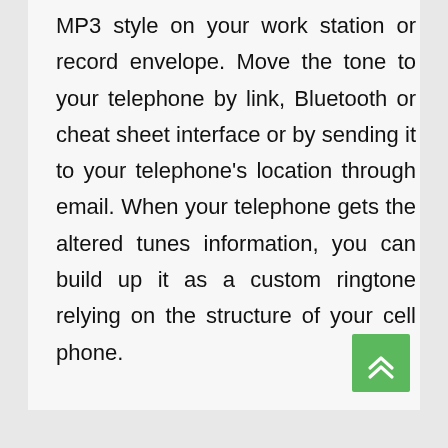MP3 style on your work station or record envelope. Move the tone to your telephone by link, Bluetooth or cheat sheet interface or by sending it to your telephone's location through email. When your telephone gets the altered tunes information, you can build up it as a custom ringtone relying on the structure of your cell phone.
[Figure (other): Green scroll-to-top button with double upward chevron arrow icon, positioned in the bottom-right corner]